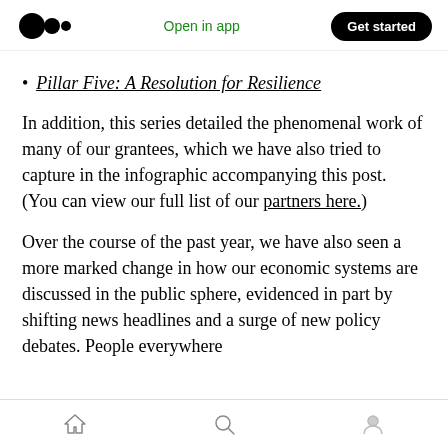Medium app header with logo, 'Open in app', and 'Get started' button
Pillar Five: A Resolution for Resilience
In addition, this series detailed the phenomenal work of many of our grantees, which we have also tried to capture in the infographic accompanying this post. (You can view our full list of our partners here.)
Over the course of the past year, we have also seen a more marked change in how our economic systems are discussed in the public sphere, evidenced in part by shifting news headlines and a surge of new policy debates. People everywhere
Bottom navigation bar with home, search, and profile icons